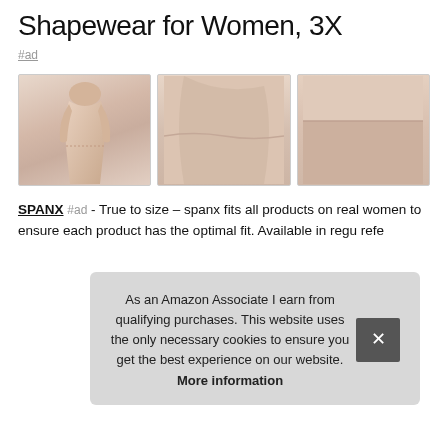Shapewear for Women, 3X
#ad
[Figure (photo): Three product photos of beige/nude shapewear: first shows a woman wearing high-waist shaper shorts, second is a close-up of the fabric/garment, third is another close-up of the fabric texture.]
SPANX #ad - True to size – spanx fits all products on real women to ensure each product has the optimal fit. Available in regu refe
As an Amazon Associate I earn from qualifying purchases. This website uses the only necessary cookies to ensure you get the best experience on our website. More information